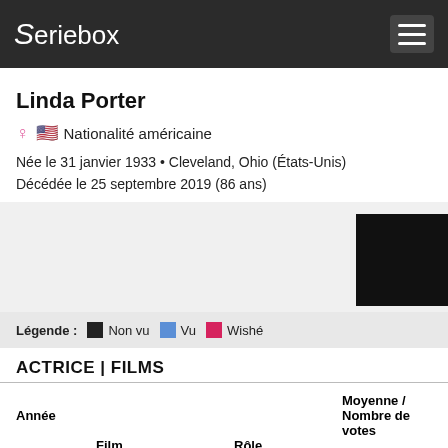Seriebox
Linda Porter
♀ 🇺🇸 Nationalité américaine
Née le 31 janvier 1933 • Cleveland, Ohio (États-Unis)
Décédée le 25 septembre 2019 (86 ans)
[Figure (photo): Black photo placeholder box in top right of gray background area]
Légende : ■ Non vu  ■ Vu  ■ Wishé
ACTRICE | FILMS
| Année | Film | Rôle | Moyenne / Nombre de votes |
| --- | --- | --- | --- |